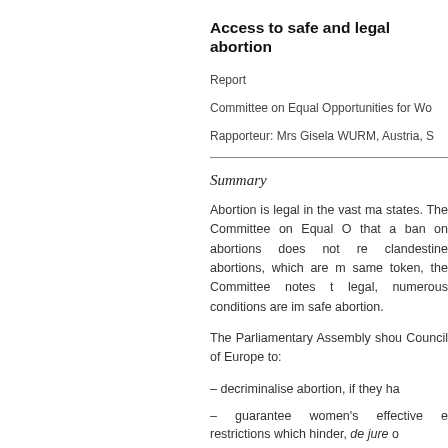Access to safe and legal abortion
Report
Committee on Equal Opportunities for Wo
Rapporteur: Mrs Gisela WURM, Austria, S
Summary
Abortion is legal in the vast ma states. The Committee on Equal O that a ban on abortions does not re clandestine abortions, which are m same token, the Committee notes t legal, numerous conditions are im safe abortion.
The Parliamentary Assembly shou Council of Europe to:
– decriminalise abortion, if they ha
– guarantee women's effective e restrictions which hinder, de jure o